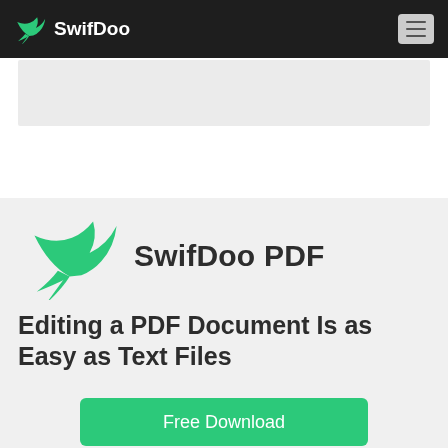SwifDoo
[Figure (screenshot): Light gray banner/content area below navigation bar]
[Figure (logo): SwifDoo bird logo (large, green) with SwifDoo PDF text]
SwifDoo PDF
Editing a PDF Document Is as Easy as Text Files
Free Download